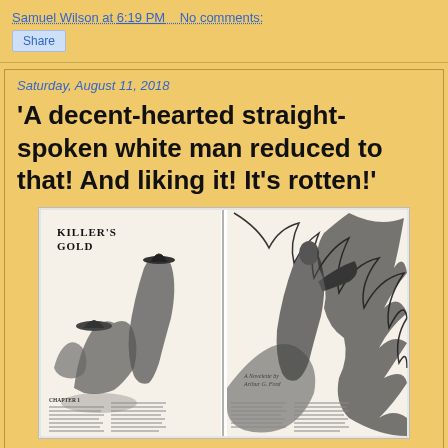Samuel Wilson at 6:19 PM   No comments:
Share
Saturday, August 11, 2018
'A decent-hearted straight-spoken white man reduced to that! And liking it! It's rotten!'
[Figure (illustration): Black and white illustration titled 'Killer's Gold' showing Western/adventure scene with figures, credited as 'A Novelette by Arthur G. Ford', with chapter text below]
▲